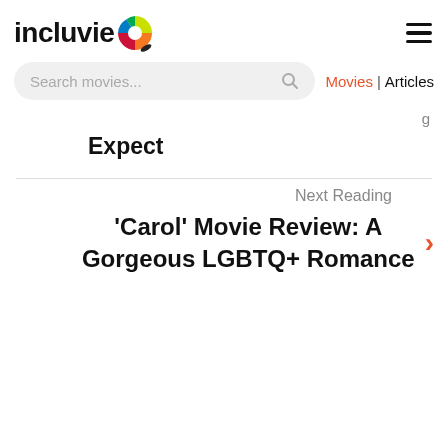incluvie [logo] ☰
Search movies... 🔍  Movies | Articles
Expect
Next Reading
'Carol' Movie Review: A Gorgeous LGBTQ+ Romance